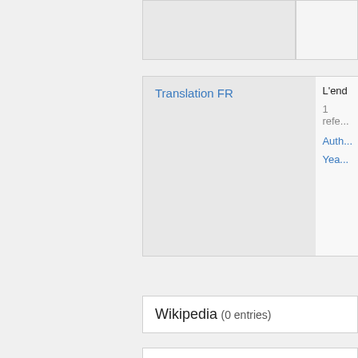| Translation FR | L'end... |
| --- | --- |
|  | 1 refe... |
|  | Auth... |
|  | Yea... |
Wikipedia  (0 entries)
⟦wikibase-sitelinks-wikinews⟧  (0 entrie...
⟦wikibase-sitelinks-wikiquote⟧  (0 entri...